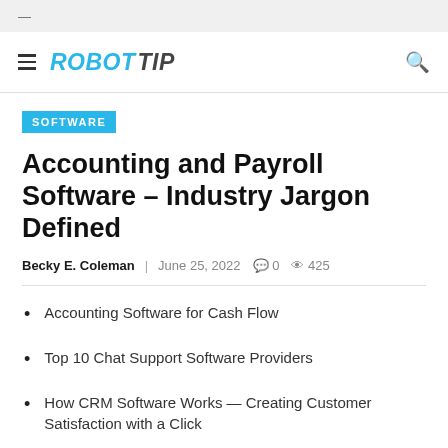—
ROBOT TIP
SOFTWARE
Accounting and Payroll Software – Industry Jargon Defined
Becky E. Coleman   June 25, 2022   0   425
Accounting Software for Cash Flow
Top 10 Chat Support Software Providers
How CRM Software Works — Creating Customer Satisfaction with a Click